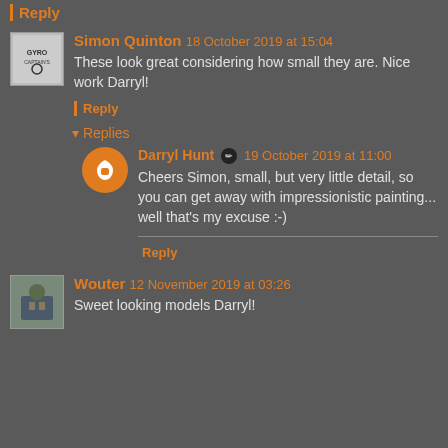Reply
Simon Quinton   18 October 2019 at 15:04
These look great considering how small they are. Nice work Darryl!
Reply
Replies
Darryl Hunt ✏ 19 October 2019 at 11:00
Cheers Simon, small, but very little detail, so you can get away with impressionistic painting... well that's my excuse :-)
Reply
Wouter   12 November 2019 at 03:26
Sweet looking models Darryl!